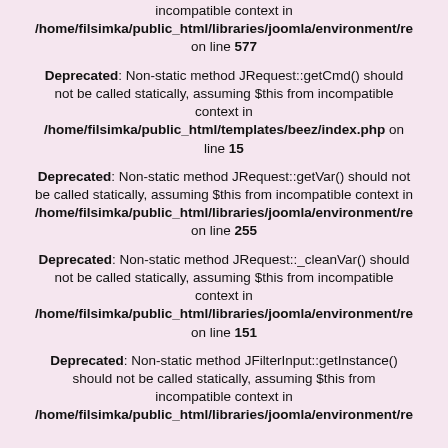incompatible context in /home/filsimka/public_html/libraries/joomla/environment/re on line 577
Deprecated: Non-static method JRequest::getCmd() should not be called statically, assuming $this from incompatible context in /home/filsimka/public_html/templates/beez/index.php on line 15
Deprecated: Non-static method JRequest::getVar() should not be called statically, assuming $this from incompatible context in /home/filsimka/public_html/libraries/joomla/environment/re on line 255
Deprecated: Non-static method JRequest::_cleanVar() should not be called statically, assuming $this from incompatible context in /home/filsimka/public_html/libraries/joomla/environment/re on line 151
Deprecated: Non-static method JFilterInput::getInstance() should not be called statically, assuming $this from incompatible context in /home/filsimka/public_html/libraries/joomla/environment/re